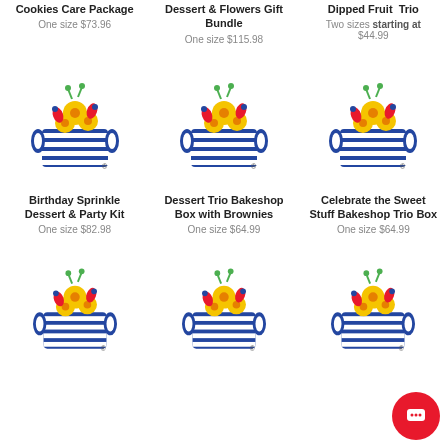Cookies Care Package — One size $73.96
Dessert & Flowers Gift Bundle — One size $115.98
Dipped Fruit Trio — Two sizes starting at $44.99
[Figure (logo): 1-800-Flowers basket logo with colorful flowers]
[Figure (logo): 1-800-Flowers basket logo with colorful flowers]
[Figure (logo): 1-800-Flowers basket logo with colorful flowers]
Birthday Sprinkle Dessert & Party Kit — One size $82.98
Dessert Trio Bakeshop Box with Brownies — One size $64.99
Celebrate the Sweet Stuff Bakeshop Trio Box — One size $64.99
[Figure (logo): 1-800-Flowers basket logo with colorful flowers]
[Figure (logo): 1-800-Flowers basket logo with colorful flowers]
[Figure (logo): 1-800-Flowers basket logo with colorful flowers]